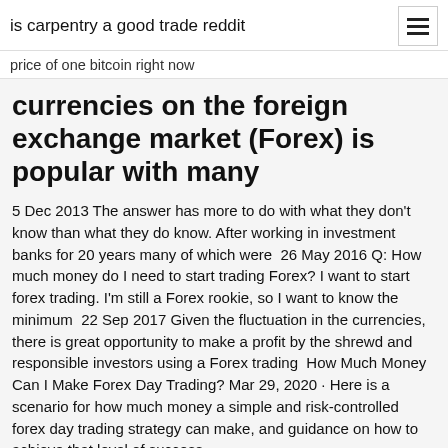is carpentry a good trade reddit
price of one bitcoin right now
currencies on the foreign exchange market (Forex) is popular with many
5 Dec 2013 The answer has more to do with what they don't know than what they do know. After working in investment banks for 20 years many of which were  26 May 2016 Q: How much money do I need to start trading Forex? I want to start forex trading. I'm still a Forex rookie, so I want to know the minimum  22 Sep 2017 Given the fluctuation in the currencies, there is great opportunity to make a profit by the shrewd and responsible investors using a Forex trading  How Much Money Can I Make Forex Day Trading? Mar 29, 2020 · Here is a scenario for how much money a simple and risk-controlled forex day trading strategy can make, and guidance on how to achieve that level of success.